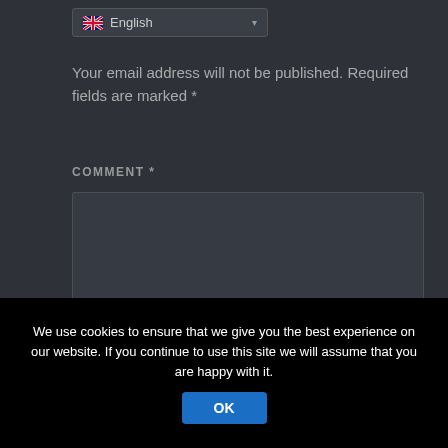[Figure (screenshot): Language selector dropdown showing UK flag and 'English' with a dropdown arrow]
Your email address will not be published. Required fields are marked *
COMMENT *
[Figure (screenshot): Large empty comment textarea with resize handle in bottom-right corner]
We use cookies to ensure that we give you the best experience on our website. If you continue to use this site we will assume that you are happy with it.
OK